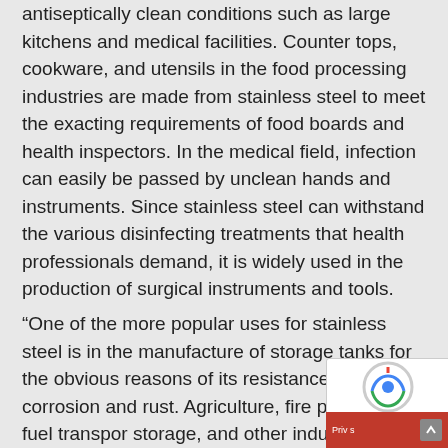antiseptically clean conditions such as large kitchens and medical facilities. Counter tops, cookware, and utensils in the food processing industries are made from stainless steel to meet the exacting requirements of food boards and health inspectors. In the medical field, infection can easily be passed by unclean hands and instruments. Since stainless steel can withstand the various disinfecting treatments that health professionals demand, it is widely used in the production of surgical instruments and tools.
“One of the more popular uses for stainless steel is in the manufacture of storage tanks for the obvious reasons of its resistance to corrosion and rust. Agriculture, fire protection, fuel transportation, storage, and other industries that require strong